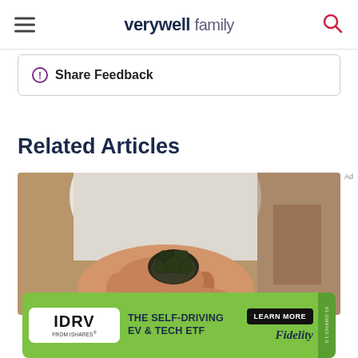verywell family
Share Feedback
Related Articles
[Figure (photo): Child holding a small turtle in their hands]
[Figure (other): IDRV FROM iSHARES. THE SELF-DRIVING EV & TECH ETF LEARN MORE Fidelity advertisement banner]